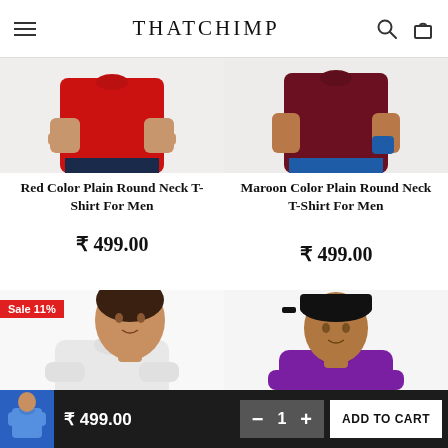THATCHIMP
[Figure (photo): Red t-shirt worn by man, torso view]
[Figure (photo): Maroon t-shirt worn by man, torso view]
Red Color Plain Round Neck T-Shirt For Men
₹ 499.00
Maroon Color Plain Round Neck T-Shirt For Men
₹ 499.00
[Figure (photo): White t-shirt worn by man, with Sale 11% badge]
[Figure (photo): Purple t-shirt worn by man wearing black cap]
₹ 499.00  −  1  +  ADD TO CART